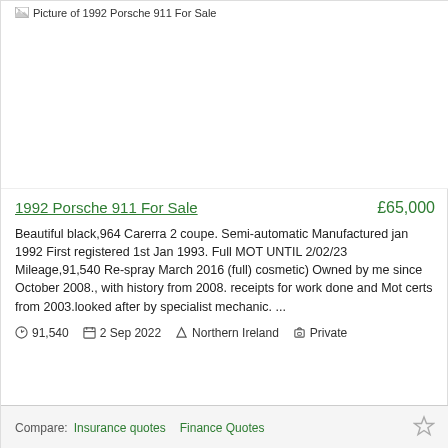[Figure (photo): Picture of 1992 Porsche 911 For Sale — image placeholder shown with broken image icon and alt text]
1992 Porsche 911 For Sale
£65,000
Beautiful black,964 Carerra 2 coupe. Semi-automatic Manufactured jan 1992 First registered 1st Jan 1993. Full MOT UNTIL 2/02/23 Mileage,91,540 Re-spray March 2016 (full) cosmetic) Owned by me since October 2008., with history from 2008. receipts for work done and Mot certs from 2003.looked after by specialist mechanic. ...
91,540   2 Sep 2022   Northern Ireland   Private
Compare:  Insurance quotes   Finance Quotes